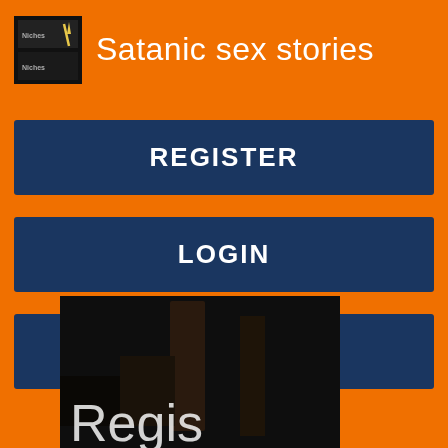Satanic sex stories
REGISTER
LOGIN
CONTACT US
[Figure (photo): Dark room photo with partial text 'Regis' visible at bottom, likely a register page screenshot]